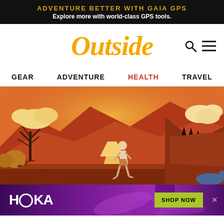ADVENTURE BETTER WITH GAIA GPS
Explore more with world-class GPS tools.
[Figure (logo): Outside magazine logo in italic golden/orange serif font]
GEAR   ADVENTURE   HEALTH   TRAVEL
[Figure (illustration): Illustrated scene of a person running on a trail through an orange/warm-toned wilderness landscape with mountains, bare trees, and dramatic sky]
[Figure (illustration): HOKA advertisement banner with purple gradient background, HOKA logo in white, woman figure, and green SHOP NOW button]